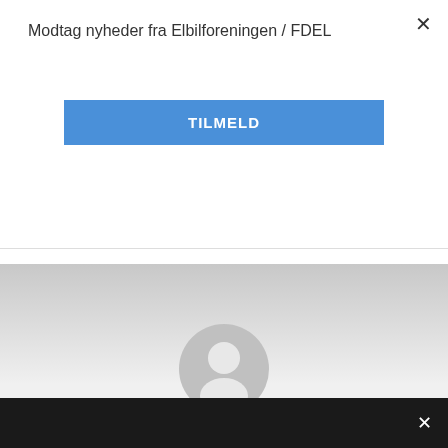Modtag nyheder fra Elbilforeningen / FDEL
TILMELD
[Figure (illustration): Generic user avatar circle with person silhouette on grey gradient banner background]
Sarm ostarine mk 2866 for sale, ostarine pills for sale
Gruppe: Oprettet
Meldt ind: 2022-04-13
New Member